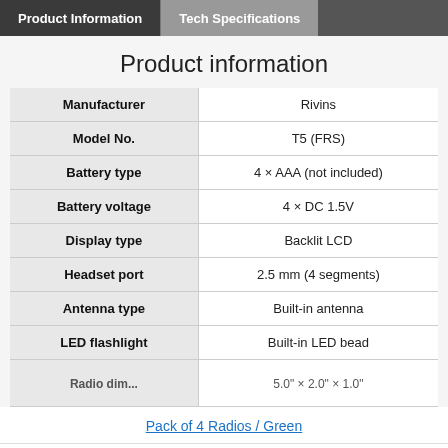Product Information | Tech Specifications
Product information
|  |  |
| --- | --- |
| Manufacturer | Rivins |
| Model No. | T5 (FRS) |
| Battery type | 4 × AAA (not included) |
| Battery voltage | 4 × DC 1.5V |
| Display type | Backlit LCD |
| Headset port | 2.5 mm (4 segments) |
| Antenna type | Built-in antenna |
| LED flashlight | Built-in LED bead |
| Radio dimensions (partial) | ... |
Pack of 4 Radios / Green
— 1 + | ADD TO CART